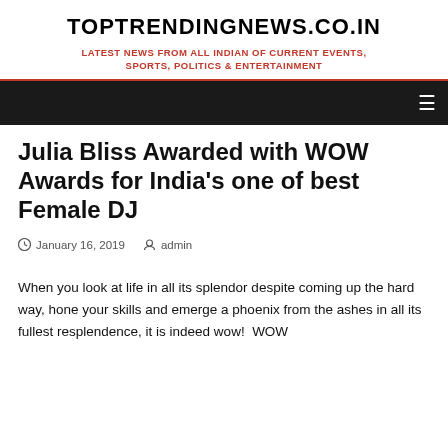TOPTRENDINGNEWS.CO.IN
LATEST NEWS FROM ALL INDIAN OF CURRENT EVENTS, SPORTS, POLITICS & ENTERTAINMENT
Julia Bliss Awarded with WOW Awards for India’s one of best Female DJ
January 16, 2019   admin
When you look at life in all its splendor despite coming up the hard way, hone your skills and emerge a phoenix from the ashes in all its fullest resplendence, it is indeed wow!  WOW